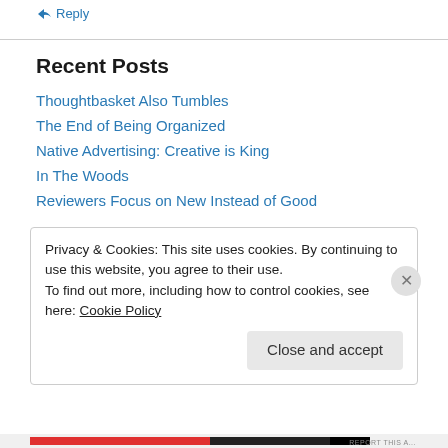↳ Reply
Recent Posts
Thoughtbasket Also Tumbles
The End of Being Organized
Native Advertising: Creative is King
In The Woods
Reviewers Focus on New Instead of Good
Privacy & Cookies: This site uses cookies. By continuing to use this website, you agree to their use. To find out more, including how to control cookies, see here: Cookie Policy
Close and accept